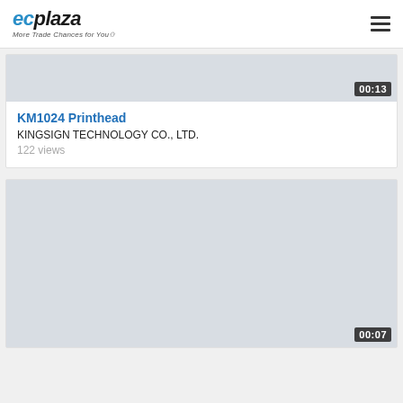ecplaza More Trade Chances for You
[Figure (screenshot): Video thumbnail placeholder, gray background with duration badge 00:13]
KM1024 Printhead
KINGSIGN TECHNOLOGY CO., LTD.
122 views
[Figure (screenshot): Second video thumbnail placeholder, white/gray background with duration badge 00:07]